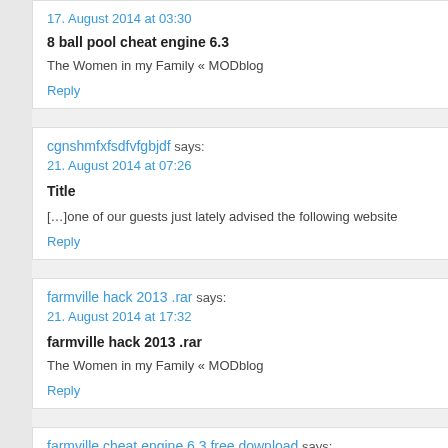17. August 2014 at 03:30
8 ball pool cheat engine 6.3
The Women in my Family « MODblog
Reply
cgnshmfxfsdfvfgbjdf says:
21. August 2014 at 07:26
Title
[…]one of our guests just lately advised the following website
Reply
farmville hack 2013 .rar says:
21. August 2014 at 17:32
farmville hack 2013 .rar
The Women in my Family « MODblog
Reply
farmville cheat engine 6.3 free download says:
21. August 2014 at 22:35
farmville cheat engine 6.3 free download